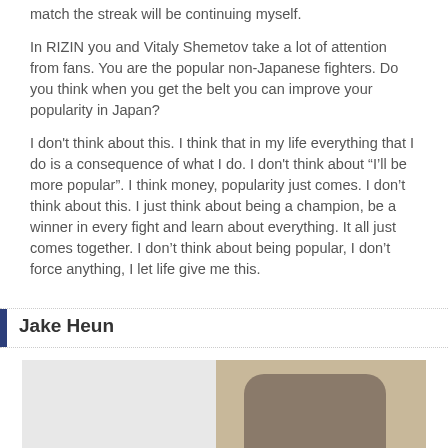match the streak will be continuing myself.
In RIZIN you and Vitaly Shemetov take a lot of attention from fans. You are the popular non-Japanese fighters. Do you think when you get the belt you can improve your popularity in Japan?
I don't think about this. I think that in my life everything that I do is a consequence of what I do. I don't think about “I’ll be more popular”. I think money, popularity just comes. I don’t think about this. I just think about being a champion, be a winner in every fight and learn about everything. It all just comes together. I don’t think about being popular, I don’t force anything, I let life give me this.
Jake Heun
[Figure (photo): Photo of a person, partially visible, with light curtains on the left side and wooden furniture/wall on the right side]